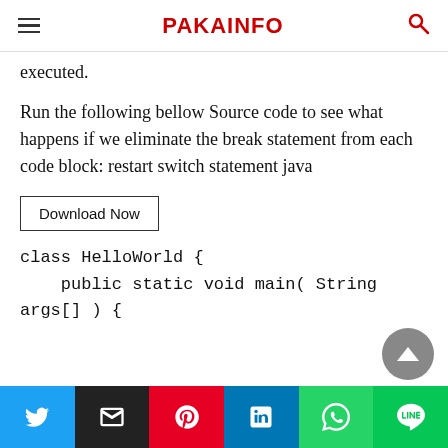PAKAINFO
executed.
Run the following bellow Source code to see what happens if we eliminate the break statement from each code block: restart switch statement java
[Figure (other): Download Now button]
class HelloWorld {
    public static void main( String args[] ) {
[Figure (other): Social share bar with Twitter, Email, Pinterest, LinkedIn, WhatsApp, LINE buttons]